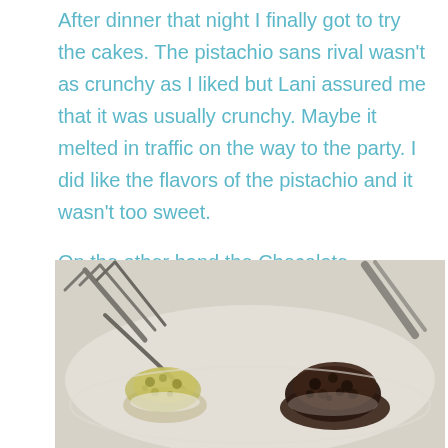After dinner that night I finally got to try the cakes. The pistachio sans rival wasn't as crunchy as I liked but Lani assured me that it was usually crunchy. Maybe it melted in traffic on the way to the party. I did like the flavors of the pistachio and it wasn't too sweet.
On the other hand the Chocolate Concorde was as yummy as I imagined. The meringue layers were chewy and the chocolate mousse was rich, dark and very, very sinful. I took home a good portion of the cake and enjoyed it with coffee for a few days.
[Figure (photo): Photo of two pieces of cake on a white plate with a fork and knife — a pistachio cake on the left (yellowish-green) and a chocolate Concorde cake on the right (dark brown crumble texture)]